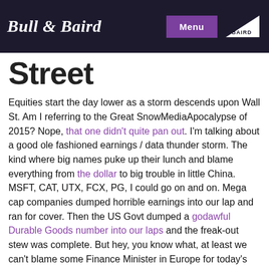Bull & Baird | Menu | BAIRD
Street
Equities start the day lower as a storm descends upon Wall St. Am I referring to the Great SnowMediaApocalypse of 2015? Nope, that one didn't quite pan out. I'm talking about a good ole fashioned earnings / data thunder storm. The kind where big names puke up their lunch and blame everything from the dollar to big trouble in little China. MSFT, CAT, UTX, FCX, PG, I could go on and on. Mega cap companies dumped horrible earnings into our lap and ran for cover. Then the US Govt dumped a godawful Durable Goods number into our laps and the freak-out stew was complete. But hey, you know what, at least we can't blame some Finance Minister in Europe for today's horrible start. This was one self inflicted and I'm fine with that. Stock markets should express the cash flows / business outlook of